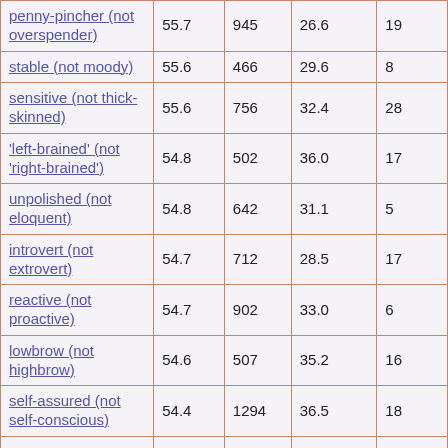| penny-pincher (not overspender) | 55.7 | 945 | 26.6 | 19 |
| stable (not moody) | 55.6 | 466 | 29.6 | 8 |
| sensitive (not thick-skinned) | 55.6 | 756 | 32.4 | 28 |
| 'left-brained' (not 'right-brained') | 54.8 | 502 | 36.0 | 17 |
| unpolished (not eloquent) | 54.8 | 642 | 31.1 | 5 |
| introvert (not extrovert) | 54.7 | 712 | 28.5 | 17 |
| reactive (not proactive) | 54.7 | 902 | 33.0 | 6 |
| lowbrow (not highbrow) | 54.6 | 507 | 35.2 | 16 |
| self-assured (not self-conscious) | 54.4 | 1294 | 36.5 | 18 |